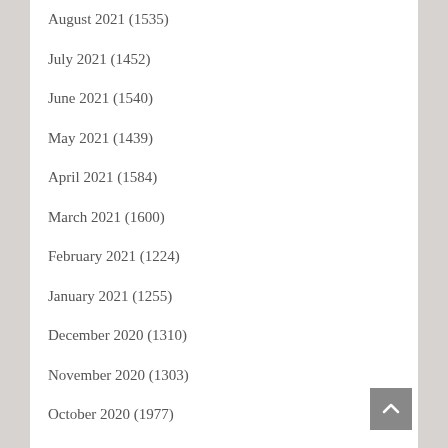August 2021 (1535)
July 2021 (1452)
June 2021 (1540)
May 2021 (1439)
April 2021 (1584)
March 2021 (1600)
February 2021 (1224)
January 2021 (1255)
December 2020 (1310)
November 2020 (1303)
October 2020 (1977)
September 2020 (1737)
August 2020 (1459)